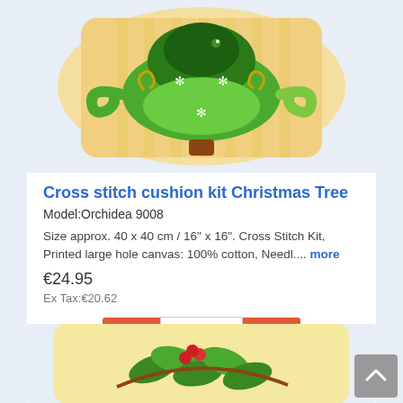[Figure (photo): Cross stitch cushion kit with Christmas Tree design on beige canvas]
Cross stitch cushion kit Christmas Tree
Model:Orchidea 9008
Size approx. 40 x 40 cm / 16" x 16". Cross Stitch Kit, Printed large hole canvas: 100% cotton, Needl.... more
€24.95
Ex Tax:€20.62
[Figure (photo): Second cross stitch cushion kit showing holly and berries design on beige canvas]